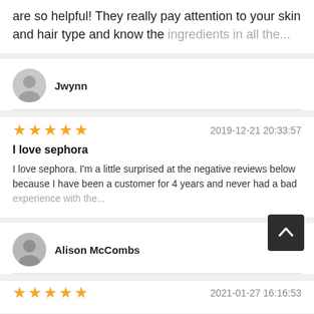are so helpful! They really pay attention to your skin and hair type and know the ingredients in all the...
Jwynn
★★★★★  2019-12-21 20:33:57
I love sephora
I love sephora. I'm a little surprised at the negative reviews below because I have been a customer for 4 years and never had a bad experience with the...
Alison McCombs
★★★★★  2021-01-27 16:16:53